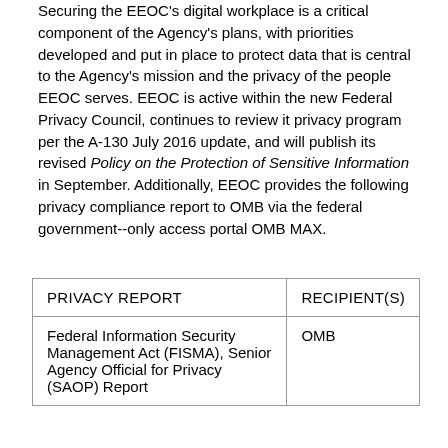Securing the EEOC's digital workplace is a critical component of the Agency's plans, with priorities developed and put in place to protect data that is central to the Agency's mission and the privacy of the people EEOC serves. EEOC is active within the new Federal Privacy Council, continues to review it privacy program per the A-130 July 2016 update, and will publish its revised Policy on the Protection of Sensitive Information in September. Additionally, EEOC provides the following privacy compliance report to OMB via the federal government--only access portal OMB MAX.
| PRIVACY REPORT | RECIPIENT(S) |
| --- | --- |
| Federal Information Security Management Act (FISMA), Senior Agency Official for Privacy (SAOP) Report | OMB |